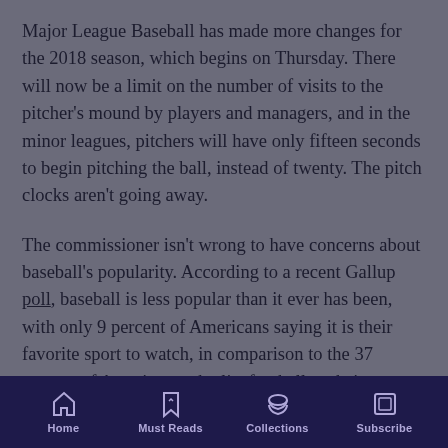Major League Baseball has made more changes for the 2018 season, which begins on Thursday. There will now be a limit on the number of visits to the pitcher's mound by players and managers, and in the minor leagues, pitchers will have only fifteen seconds to begin pitching the ball, instead of twenty. The pitch clocks aren't going away.
The commissioner isn't wrong to have concerns about baseball's popularity. According to a recent Gallup poll, baseball is less popular than it ever has been, with only 9 percent of Americans saying it is their favorite sport to watch, in comparison to the 37 percent of Americans who list football as their favorite. Most troubling of all is that baseball's fan base is aging. While baseball is the second-most
Home  Must Reads  Collections  Subscribe